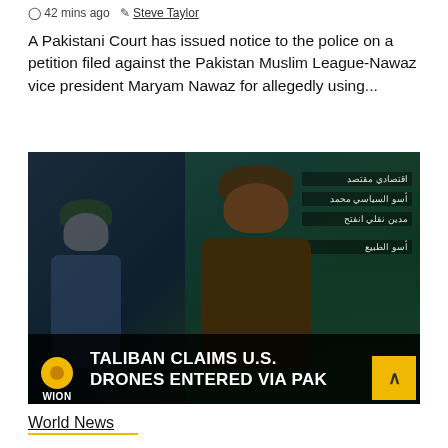42 mins ago  Steve Taylor
A Pakistani Court has issued notice to the police on a petition filed against the Pakistan Muslim League-Nawaz vice president Maryam Nawaz for allegedly using...
[Figure (screenshot): WION news broadcast screenshot showing a man in a brown turban and jacket gesturing, with Arabic text on screen and a lower-third graphic reading 'TALIBAN CLAIMS U.S. DRONES ENTERED VIA PAK'. WION logo visible at bottom left.]
World News